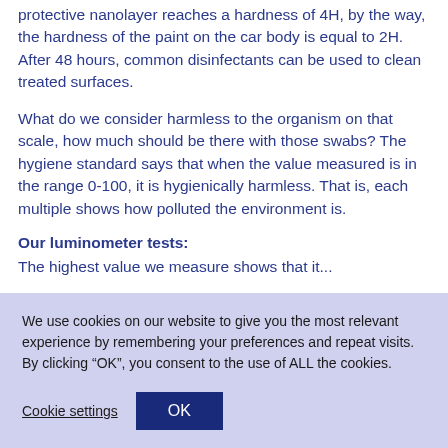protective nanolayer reaches a hardness of 4H, by the way, the hardness of the paint on the car body is equal to 2H. After 48 hours, common disinfectants can be used to clean treated surfaces.
What do we consider harmless to the organism on that scale, how much should be there with those swabs? The hygiene standard says that when the value measured is in the range 0-100, it is hygienically harmless. That is, each multiple shows how polluted the environment is.
Our luminometer tests:
The highest value we measure shows that it...
We use cookies on our website to give you the most relevant experience by remembering your preferences and repeat visits. By clicking "OK", you consent to the use of ALL the cookies.